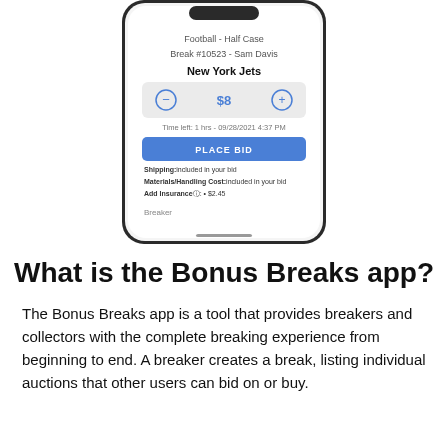[Figure (screenshot): A smartphone screenshot showing a sports card break bidding interface. It displays: 'Football - Half Case', 'Break #10523 - Sam Davis', 'New York Jets', a bid amount of $8 with minus and plus buttons, 'Time left: 1 hrs - 09/28/2021 4:37 PM', a blue 'PLACE BID' button, shipping and materials/handling info included in bid, Add Insurance option for $2.45, and Breaker label.]
What is the Bonus Breaks app?
The Bonus Breaks app is a tool that provides breakers and collectors with the complete breaking experience from beginning to end. A breaker creates a break, listing individual auctions that other users can bid on or buy.